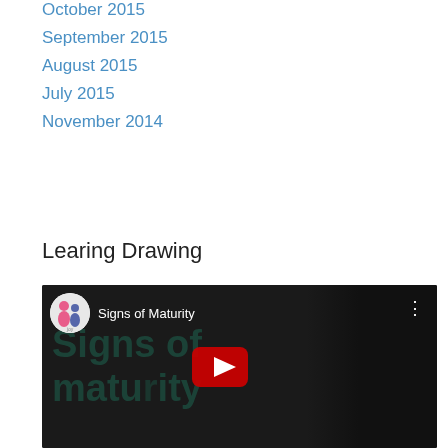October 2015
September 2015
August 2015
July 2015
November 2014
Learing Drawing
[Figure (screenshot): Embedded YouTube video thumbnail showing 'Signs of Maturity' with a dark background, large overlaid text 'Signs of maturity', YouTube play button, channel icon, and video title in top bar.]